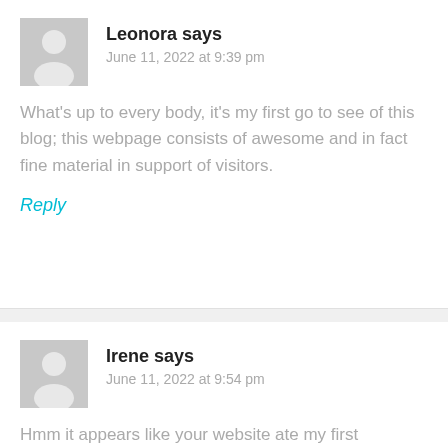Leonora says
June 11, 2022 at 9:39 pm
What's up to every body, it's my first go to see of this blog; this webpage consists of awesome and in fact fine material in support of visitors.
Reply
Irene says
June 11, 2022 at 9:54 pm
Hmm it appears like your website ate my first comment (it was extremely long) so I guess I'll just sum it up what I